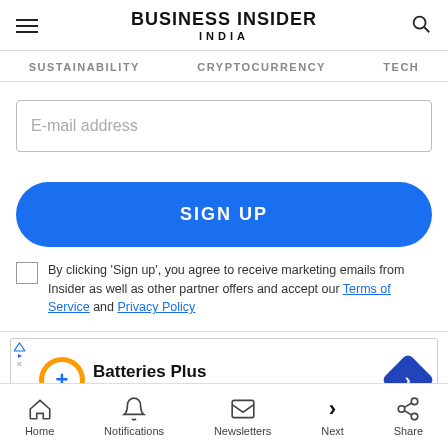BUSINESS INSIDER INDIA
SUSTAINABILITY   CRYPTOCURRENCY   TECH
E-mail address
SIGN UP
By clicking 'Sign up', you agree to receive marketing emails from Insider as well as other partner offers and accept our Terms of Service and Privacy Policy
[Figure (screenshot): Batteries Plus advertisement banner showing orange circular logo with plus sign, text 'Batteries Plus' and 'Batteries Plus Bulbs' in blue, and a blue diamond-shaped arrow icon]
Home   Notifications   Newsletters   Next   Share